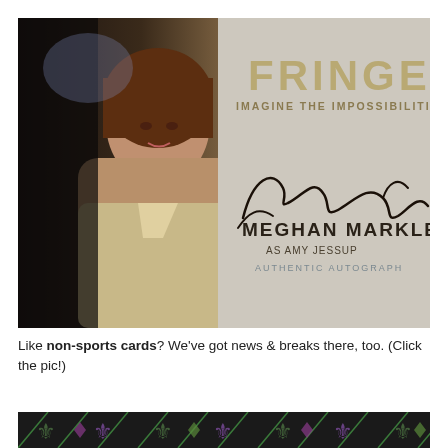[Figure (photo): A trading card from the TV show Fringe showing a woman (Meghan Markle) on the left side with a signature in the center-right area. Text reads: FRINGE, IMAGINE THE IMPOSSIBILITIES, MEGHAN MARKLE, AS AMY JESSUP, AUTHENTIC AUTOGRAPH.]
Like non-sports cards? We've got news & breaks there, too. (Click the pic!)
[Figure (photo): Bottom portion of a decorative card with dark background showing ornate fleur-de-lis and scroll patterns in green, purple, and gold colors.]